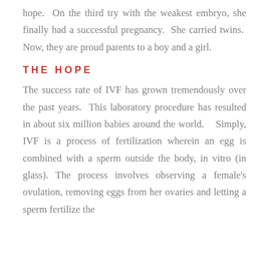hope.  On the third try with the weakest embryo, she finally had a successful pregnancy.  She carried twins.  Now, they are proud parents to a boy and a girl.
THE HOPE
The success rate of IVF has grown tremendously over the past years.  This laboratory procedure has resulted in about six million babies around the world.    Simply, IVF is a process of fertilization wherein an egg is combined with a sperm outside the body, in vitro (in glass). The process involves observing a female's ovulation, removing eggs from her ovaries and letting a sperm fertilize the